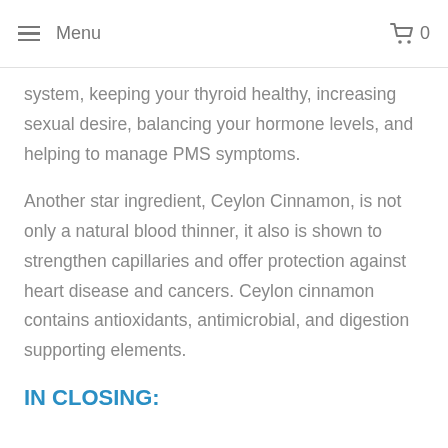Menu  0
system, keeping your thyroid healthy, increasing sexual desire, balancing your hormone levels, and helping to manage PMS symptoms.
Another star ingredient, Ceylon Cinnamon, is not only a natural blood thinner, it also is shown to strengthen capillaries and offer protection against heart disease and cancers. Ceylon cinnamon contains antioxidants, antimicrobial, and digestion supporting elements.
IN CLOSING: